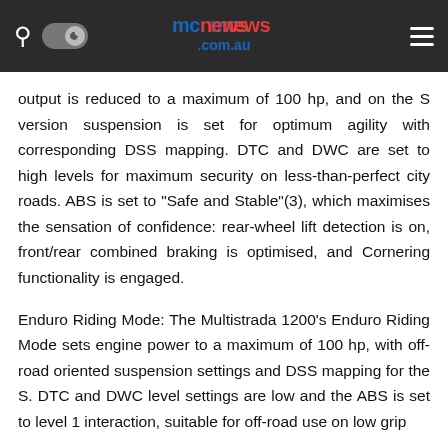mcnews.com.au
output is reduced to a maximum of 100 hp, and on the S version suspension is set for optimum agility with corresponding DSS mapping. DTC and DWC are set to high levels for maximum security on less-than-perfect city roads. ABS is set to “Safe and Stable”(3), which maximises the sensation of confidence: rear-wheel lift detection is on, front/rear combined braking is optimised, and Cornering functionality is engaged.
Enduro Riding Mode: The Multistrada 1200’s Enduro Riding Mode sets engine power to a maximum of 100 hp, with off-road oriented suspension settings and DSS mapping for the S. DTC and DWC level settings are low and the ABS is set to level 1 interaction, suitable for off-road use on low grip